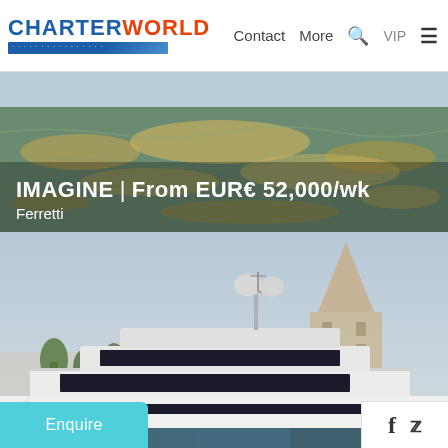CHARTERWORLD | Contact  More  Q  VIP  ≡
IMAGINE | From EUR€ 52,000/wk
Ferretti
[Figure (photo): Aerial/distant view of sun-glittered sea water forming the hero banner background]
[Figure (photo): Ferretti motor yacht IMAGINE moored in a Croatian harbor with a historic church bell tower visible in the background, under a hazy blue sky]
Enquire
[Figure (logo): Facebook and Twitter social media icons in white panel at bottom right]